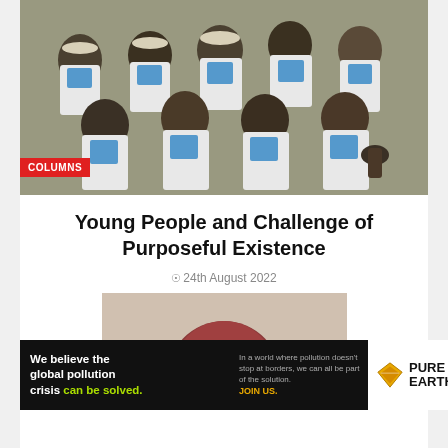[Figure (photo): Group photo of young school children in white and blue uniforms seated together]
Young People and Challenge of Purposeful Existence
24th August 2022
[Figure (photo): Partial photo of a person, only top of head visible]
[Figure (infographic): Pure Earth advertisement banner: We believe the global pollution crisis can be solved. In a world where pollution doesn't stop at borders, we can all be part of the solution. JOIN US.]